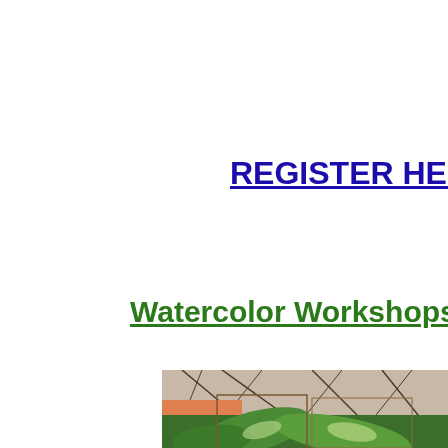REGISTER HERE
Watercolor Workshops Begin May
[Figure (photo): Watercolor painting of tropical leaves and plants with tree branch background, partially cropped]